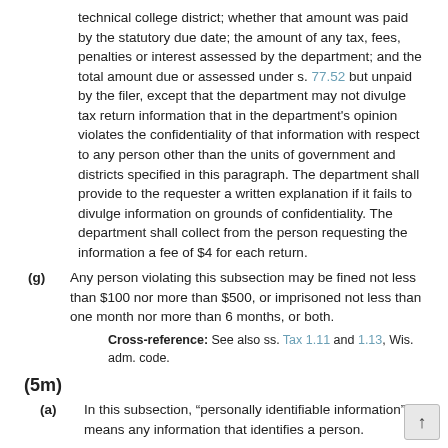technical college district; whether that amount was paid by the statutory due date; the amount of any tax, fees, penalties or interest assessed by the department; and the total amount due or assessed under s. 77.52 but unpaid by the filer, except that the department may not divulge tax return information that in the department's opinion violates the confidentiality of that information with respect to any person other than the units of government and districts specified in this paragraph. The department shall provide to the requester a written explanation if it fails to divulge information on grounds of confidentiality. The department shall collect from the person requesting the information a fee of $4 for each return.
(g) Any person violating this subsection may be fined not less than $100 nor more than $500, or imprisoned not less than one month nor more than 6 months, or both.
Cross-reference: See also ss. Tax 1.11 and 1.13, Wis. adm. code.
(5m)
(a) In this subsection, “personally identifiable information” means any information that identifies a person.
(b) A certified service provider may use personally identifiable information as necessary only for the administration of its system to perform a seller's sales and use tax functions and shall provide consumers clear and conspicuous notice of its practice regarding such information, including what